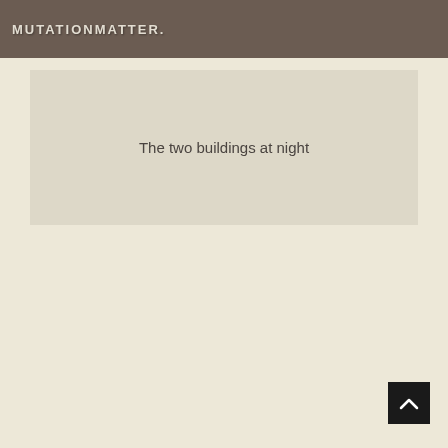MUTATIONMATTER.
[Figure (photo): Placeholder area for a photo of two buildings at night. The image area appears as a light gray rectangle.]
The two buildings at night
[Figure (other): Back to top button: a dark square with an upward-pointing chevron arrow icon in white.]